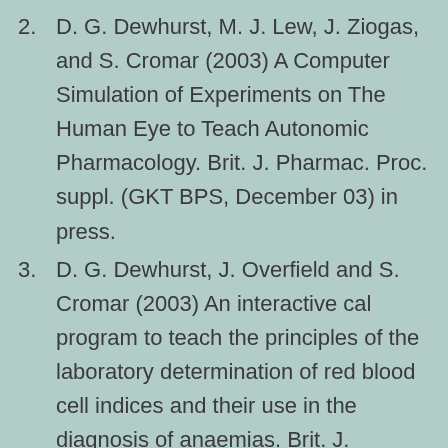2. D. G. Dewhurst, M. J. Lew, J. Ziogas, and S. Cromar (2003) A Computer Simulation of Experiments on The Human Eye to Teach Autonomic Pharmacology. Brit. J. Pharmac. Proc. suppl. (GKT BPS, December 03) in press.
3. D. G. Dewhurst, J. Overfield and S. Cromar (2003) An interactive cal program to teach the principles of the laboratory determination of red blood cell indices and their use in the diagnosis of anaemias. Brit. J. Pharmac. Proc. suppl. (Brighton BPS, January 03)